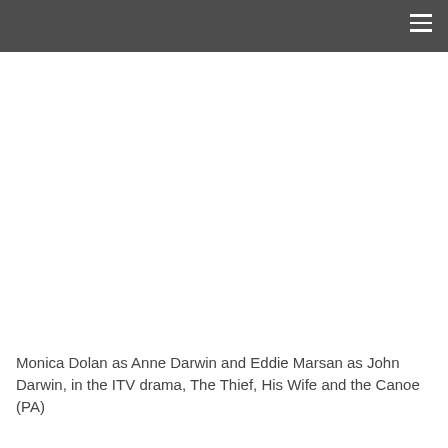[Figure (photo): A large photograph occupying most of the upper portion of the page, showing a scene from the ITV drama. The image area appears white/blank in this rendering.]
Monica Dolan as Anne Darwin and Eddie Marsan as John Darwin, in the ITV drama, The Thief, His Wife and the Canoe (PA)